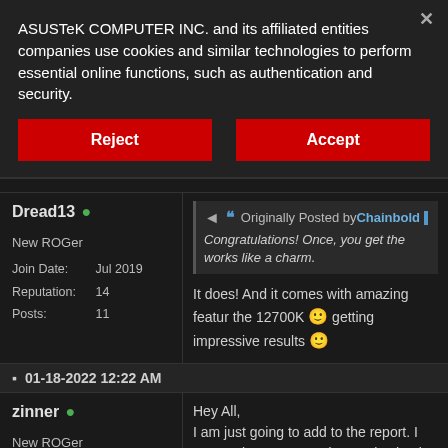ASUSTeK COMPUTER INC. and its affiliated entities companies use cookies and similar technologies to perform essential online functions, such as authentication and security.
Reject
Accept
Dread13 •
New ROGer
Join Date: Jul 2019
Reputation: 14
Posts: 11
Originally Posted by Chainbold
Congratulations! Once, you get the works like a charm.
It does! And it comes with amazing featur the 12700K 🙂 getting impressive results 🙂
01-18-2022 12:22 AM
zinner •
New ROGer
Join Date: Jan 2022
Hey All,
I am just going to add to the report. I got t Strix Z690-F. And I am also having loads memory to work.